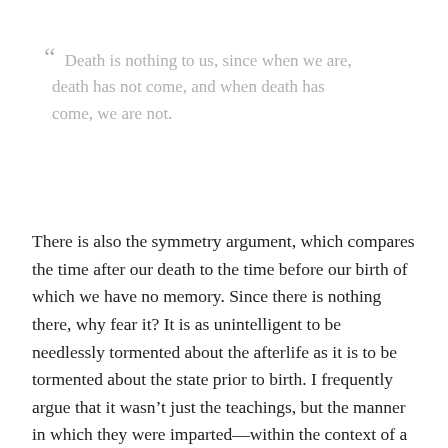“ Death is nothing to us, since when we are, death has not come, and when death has come, we are not.
There is also the symmetry argument, which compares the time after our death to the time before our birth of which we have no memory. Since there is nothing there, why fear it? It is as unintelligent to be needlessly tormented about the afterlife as it is to be tormented about the state prior to birth. I frequently argue that it wasn’t just the teachings, but the manner in which they were imparted—within the context of a loving community of philosopher friends—that served as a consolation and that it is impossible to replicate the peace and conviction that Epicurus gave humanity without this sense of